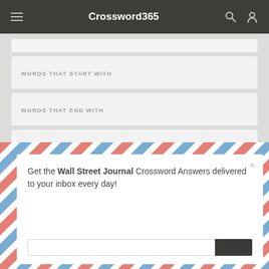Crossword365
WORDS THAT START WITH
WORDS THAT END WITH
ANSWERS BY WORD LENGTH
[Figure (screenshot): Email newsletter signup popup with air mail diagonal stripe border. Text reads: Get the Wall Street Journal Crossword Answers delivered to your inbox every day!]